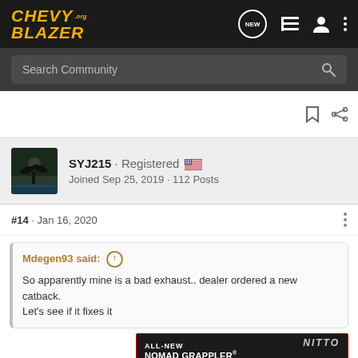CHEVY BLAZER .org
Search Community
SYJ215 · Registered · Joined Sep 25, 2019 · 112 Posts
#14 · Jan 16, 2020
Mdegen93 said: ↑
So apparently mine is a bad exhaust.. dealer ordered a new catback. Let's see if it fixes it
[Figure (photo): Nitto ALL-NEW NOMAD GRAPPLER CROSSOVER-TERRAIN TIRE advertisement banner]
Interesti…terday